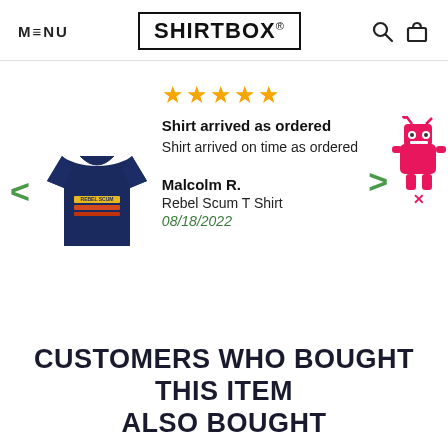MENU | SHIRTBOX® | [search icon] [cart icon]
[Figure (screenshot): A navy blue t-shirt with colorful retro stripe graphic on the front, shown as a product photo]
★★★★★
Shirt arrived as ordered
Shirt arrived on time as ordered
Malcolm R.
Rebel Scum T Shirt
08/18/2022
[Figure (illustration): Pink cartoon robot mascot figure with an X mark below it]
CUSTOMERS WHO BOUGHT THIS ITEM ALSO BOUGHT